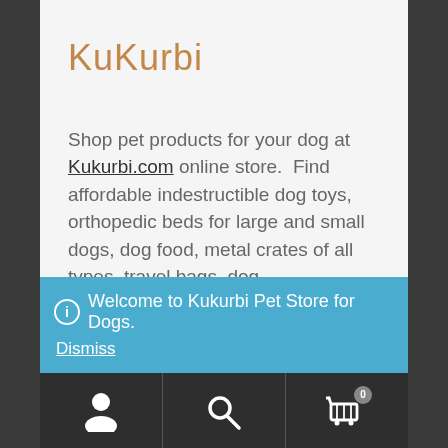KuKurbi
Shop pet products for your dog at Kukurbi.com online store.  Find affordable indestructible dog toys, orthopedic beds for large and small dogs, dog food, metal crates of all types, travel bags, dog outdoor/indoor play pens strollers supplements and
ℹ Welcome to Kukurbi Pet Store for Dogs. Dismiss